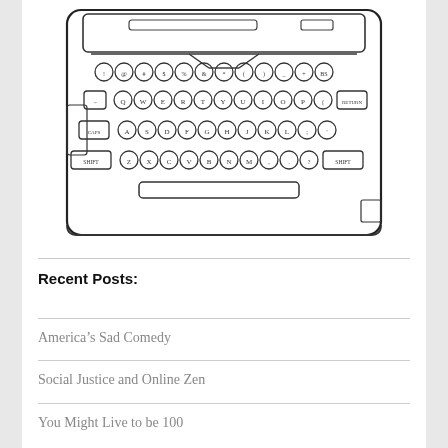[Figure (illustration): Top-view line drawing illustration of a vintage electric typewriter with keyboard keys labeled Q W E R T Y U I O P, A S D F G H J K L, Z X C V B N M, number row, function keys, return key, shift keys, and a spacebar. Black and white sketch style on white background.]
Recent Posts:
America’s Sad Comedy
Social Justice and Online Zen
You Might Live to be 100